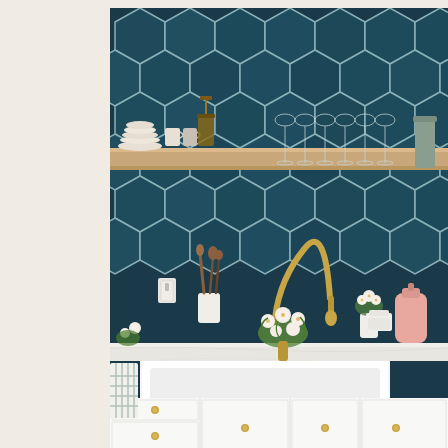[Figure (photo): Kitchen interior photo showing teal/navy hexagonal tile backsplash, a brass/gold gooseneck faucet, white farmhouse sink, white cabinets with gold knobs, open wooden shelf with glasses and dishes, wooden utensil holder, white ceramic vases, pink bottle, and white flower bouquet on the marble countertop.]